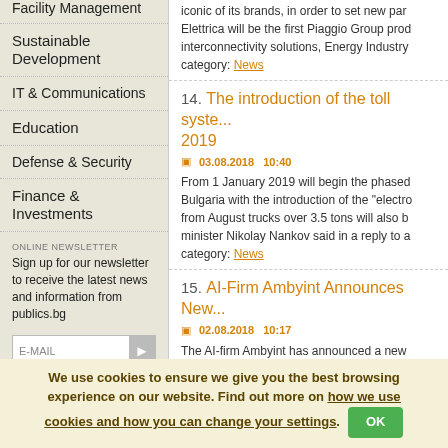Facility Management
Sustainable Development
IT & Communications
Education
Defense & Security
Finance & Investments
ONLINE NEWSLETTER
Sign up for our newsletter to receive the latest news and information from publics.bg
14. The introduction of the toll system... 2019 | 03.08.2018 10:40 | From 1 January 2019 will begin the phased... Bulgaria with the introduction of the "electro... from August trucks over 3.5 tons will also b... minister Nikolay Nankov said in a reply to a... category: News
15. AI-Firm Ambyint Announces New... | 02.08.2018 10:17 | The AI-firm Ambyint has announced a new... deploy its artificial intelligence systems to h... Shale wells, the Journal of Petroleum Techn...
We use cookies to ensure we give you the best browsing experience on our website. Find out more on how we use cookies and how you can change your settings.